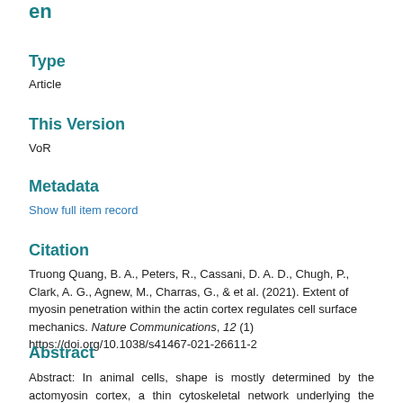en
Type
Article
This Version
VoR
Metadata
Show full item record
Citation
Truong Quang, B. A., Peters, R., Cassani, D. A. D., Chugh, P., Clark, A. G., Agnew, M., Charras, G., & et al. (2021). Extent of myosin penetration within the actin cortex regulates cell surface mechanics. Nature Communications, 12 (1) https://doi.org/10.1038/s41467-021-26611-2
Abstract
Abstract: In animal cells, shape is mostly determined by the actomyosin cortex, a thin cytoskeletal network underlying the plasma membrane. Myosin